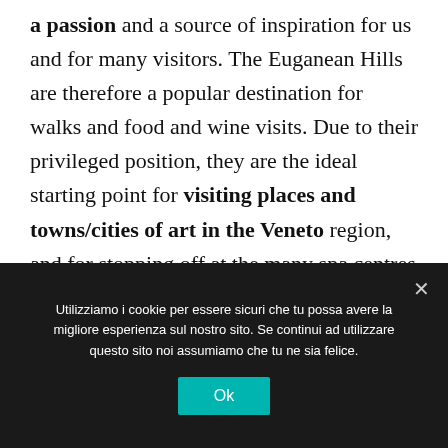a passion and a source of inspiration for us and for many visitors. The Euganean Hills are therefore a popular destination for walks and food and wine visits. Due to their privileged position, they are the ideal starting point for visiting places and towns/cities of art in the Veneto region, and for stopping off at the many spa centres in the surrounding area.
Utilizziamo i cookie per essere sicuri che tu possa avere la migliore esperienza sul nostro sito. Se continui ad utilizzare questo sito noi assumiamo che tu ne sia felice.